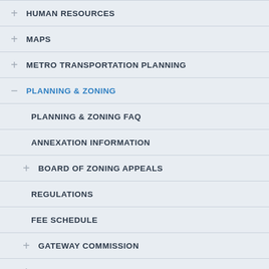HUMAN RESOURCES
MAPS
METRO TRANSPORTATION PLANNING
PLANNING & ZONING
PLANNING & ZONING FAQ
ANNEXATION INFORMATION
BOARD OF ZONING APPEALS
REGULATIONS
FEE SCHEDULE
GATEWAY COMMISSION
HISTORIC ZONING COMMISSION
HISTORIC ZONING DISTRICT SURVEYS
WEST MAIN STREET
THE BOATYARD
MORE BOATYARD
CHURCH CIRCLE